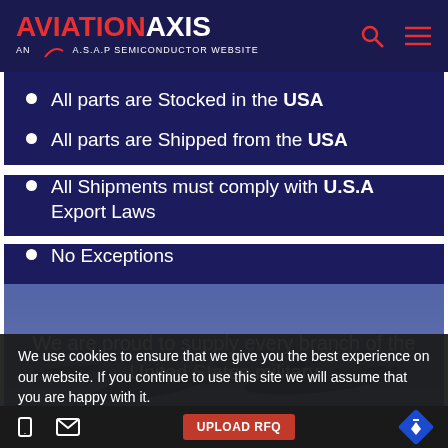AVIATION AXIS — AN A.S.A.P SEMICONDUCTOR WEBSITE
All parts are Stocked in the USA
All parts are Shipped from the USA
All Shipments must comply with U.S.A Export Laws
No Exceptions
[Figure (photo): Military jets silhouette background image with overlay]
We are proud to supply every branch of the United States military
We use cookies to ensure that we give you the best experience on our website. If you continue to use this site we will assume that you are happy with it.
Yes, I Accept Cookies.
Featured Aviation